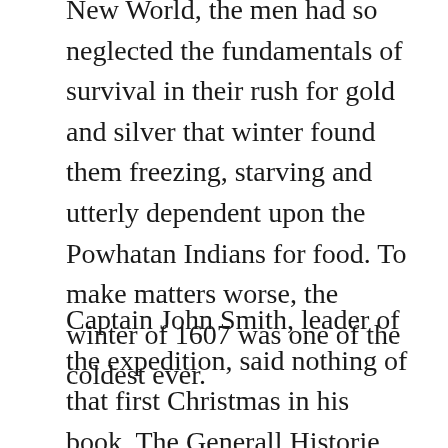New World, the men had so neglected the fundamentals of survival in their rush for gold and silver that winter found them freezing, starving and utterly dependent upon the Powhatan Indians for food. To make matters worse, the winter of 1607 was one of the coldest ever.
Captain John Smith, leader of the expedition, said nothing of that first Christmas in his book, The Generall Historie of Virginia. He and his ego were focused on his own exploits—he had been taken captive by Chief Powhatan in